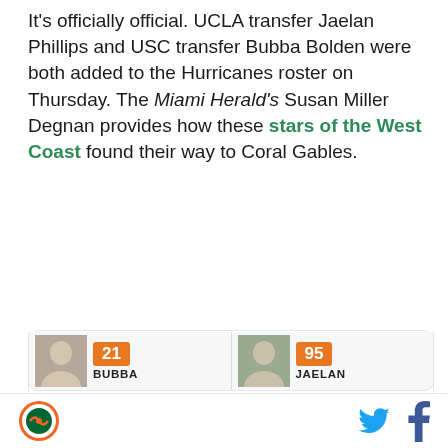It's officially official. UCLA transfer Jaelan Phillips and USC transfer Bubba Bolden were both added to the Hurricanes roster on Thursday. The Miami Herald's Susan Miller Degnan provides how these stars of the West Coast found their way to Coral Gables.
[Figure (screenshot): Tweet from @_JoshRWhite: 'Bubba Bolden (@BubbBolden) and Jaelen Phillips (@JJPhillips15) have officially been added to the @CanesFootball roster.' with player cards showing jersey numbers 21 and 95.]